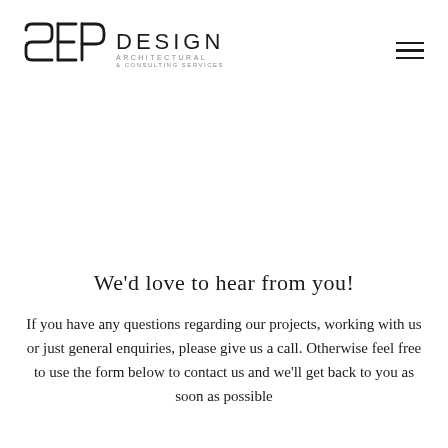[Figure (logo): SEP Design Architectural & Consulting Services logo with geometric S, E, P letterforms and text]
We'd love to hear from you!
If you have any questions regarding our projects, working with us or just general enquiries, please give us a call. Otherwise feel free to use the form below to contact us and we'll get back to you as soon as possible